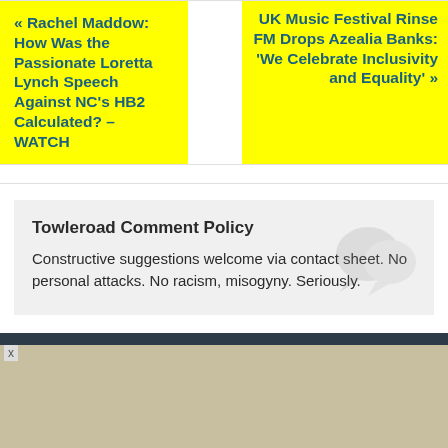« Rachel Maddow: How Was the Passionate Loretta Lynch Speech Against NC's HB2 Calculated? – WATCH
UK Music Festival Rinse FM Drops Azealia Banks: 'We Celebrate Inclusivity and Equality' »
Towleroad Comment Policy
Constructive suggestions welcome via contact sheet. No personal attacks. No racism, misogyny. Seriously.